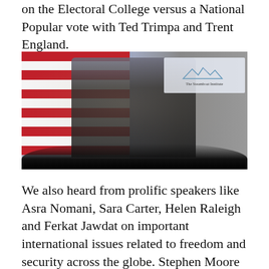on the Electoral College versus a National Popular vote with Ted Trimpa and Trent England.
[Figure (photo): A man in a dark suit and tie gestures while seated, speaking at an event. An American flag is visible behind him on the left, and a The Steamboat Institute banner/logo with mountain imagery is on the right. Flower arrangements and audience silhouettes are visible.]
We also heard from prolific speakers like Asra Nomani, Sara Carter, Helen Raleigh and Ferkat Jawdat on important international issues related to freedom and security across the globe. Stephen Moore and